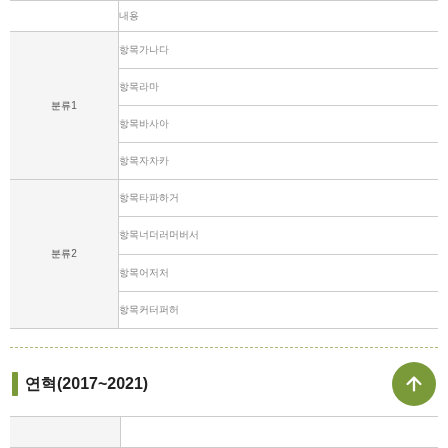| 분류 | 항목 |
| --- | --- |
|  | 내용 |
| 분류1 | 항목가나다 |
|  | 항목라마 |
|  | 항목바사아 |
|  | 항목자차카 |
| 분류2 | 항목타파하거 |
|  | 항목너더러머버서 |
|  | 항목어저처 |
|  | 항목커터퍼허 |
연혁(2017~2021)